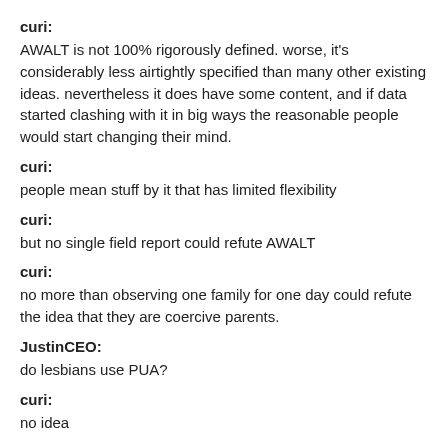curi:
AWALT is not 100% rigorously defined. worse, it's considerably less airtightly specified than many other existing ideas. nevertheless it does have some content, and if data started clashing with it in big ways the reasonable people would start changing their mind.
curi:
people mean stuff by it that has limited flexibility
curi:
but no single field report could refute AWALT
curi:
no more than observing one family for one day could refute the idea that they are coercive parents.
JustinCEO:
do lesbians use PUA?
curi:
no idea